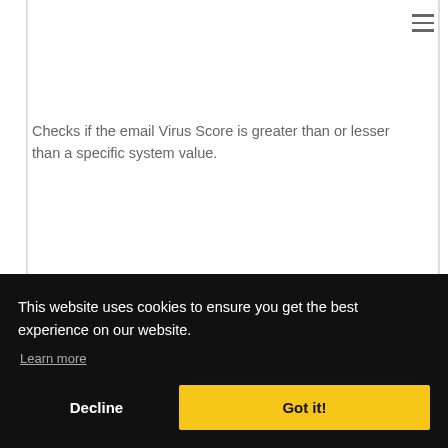Checks if the email Virus Score is greater than or lesser than a specific system value.
Note
The Virus Score
This website uses cookies to ensure you get the best experience on our website.
Learn more
Decline
Got it!
Score Actions